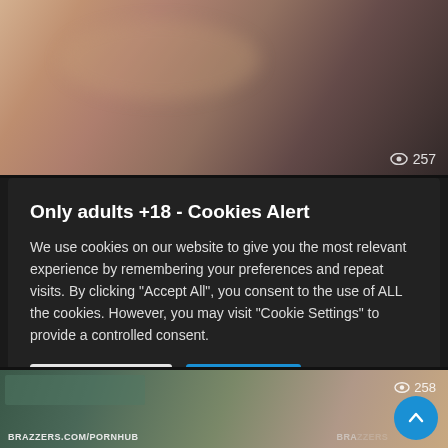[Figure (screenshot): Blurred/blended adult video thumbnail with view count 257 in bottom right corner]
Only adults +18 - Cookies Alert
We use cookies on our website to give you the most relevant experience by remembering your preferences and repeat visits. By clicking "Accept All", you consent to the use of ALL the cookies. However, you may visit "Cookie Settings" to provide a controlled consent.
Cookie Settings | Accept All
[Figure (screenshot): Adult video thumbnail with watermark BRAZZERS.COM/PORNHUB, view count 258, and scroll-to-top button]
COMPILATION
BRAZZERS – 2 in 1 Eva Karera and Rachel Starr